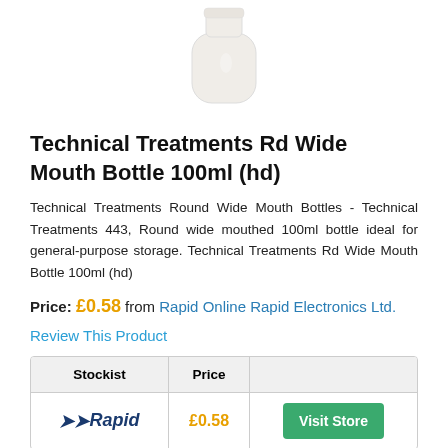[Figure (photo): White round wide mouth plastic bottle, partially visible, top portion shown against white background]
Technical Treatments Rd Wide Mouth Bottle 100ml (hd)
Technical Treatments Round Wide Mouth Bottles - Technical Treatments 443, Round wide mouthed 100ml bottle ideal for general-purpose storage. Technical Treatments Rd Wide Mouth Bottle 100ml (hd)
Price: £0.58 from Rapid Online Rapid Electronics Ltd.
Review This Product
| Stockist | Price |  |
| --- | --- | --- |
| Rapid [logo] | £0.58 | Visit Store |